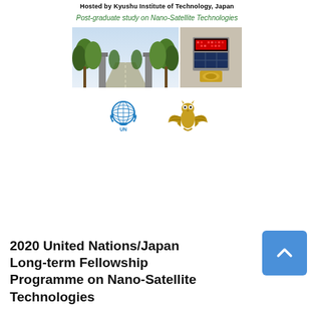Hosted by Kyushu Institute of Technology, Japan
Post-graduate study on Nano-Satellite Technologies
[Figure (photo): Two photos side by side: left shows a tree-lined gate/entrance path to Kyushu Institute of Technology campus; right shows a nano-satellite (CubeSat) with solar panels and electronics.]
[Figure (logo): United Nations emblem (blue globe with laurel wreath) and Kyushu Institute of Technology golden eagle/owl logo side by side.]
2020 United Nations/Japan Long-term Fellowship Programme on Nano-Satellite Technologies